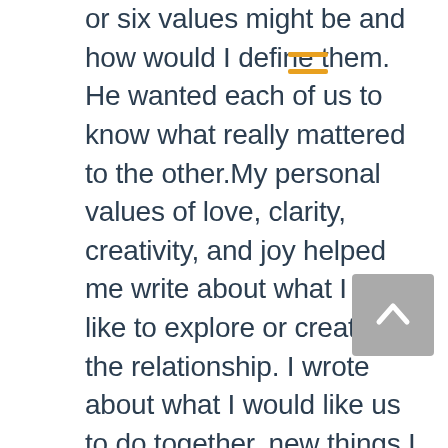or six values might be and how would I define them. He wanted each of us to know what really mattered to the other. My personal values of love, clarity, creativity, and joy helped me write about what I would like to explore or create in the relationship. I wrote about what I would like us to do together, new things I wanted to learn, and agreements we could consider that could make the relationship healthy and engaging. I didn't know a lot at this point, but it helped open my mind just by making a start. I had never taken the time to think about what I really wanted in a relationship on